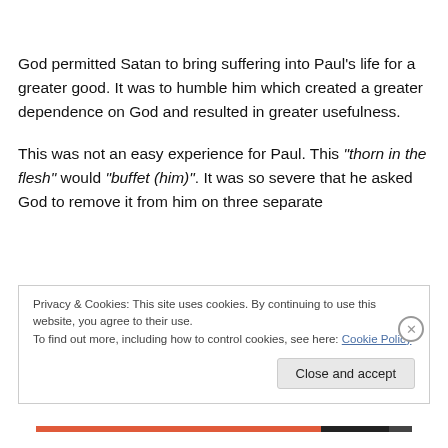God permitted Satan to bring suffering into Paul's life for a greater good.  It was to humble him which created a greater dependence on God and resulted in greater usefulness.
This was not an easy experience for Paul.   This “thorn in the flesh” would “buffet (him)”.   It was so severe that he asked God to remove it from him on three separate
Privacy & Cookies: This site uses cookies. By continuing to use this website, you agree to their use.
To find out more, including how to control cookies, see here: Cookie Policy